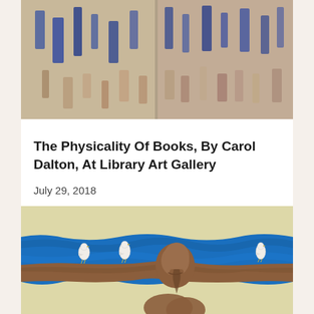[Figure (photo): Abstract artwork with colorful rectangular strokes on beige background, shown as two panels side by side]
The Physicality Of Books, By Carol Dalton, At Library Art Gallery
July 29, 2018
[Figure (photo): Sculpture of a human figure with blue backdrop and three white birds perched along an outstretched arm]